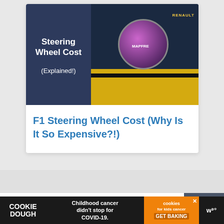[Figure (photo): F1 steering wheel article thumbnail showing a dark blue overlay with white text 'Steering Wheel Cost (Explained!)' on the left side, and an F1 racing car/driver photo on the right showing a Renault/MAPFRE car with a driver in a colorful helmet]
F1 Steering Wheel Cost (Why Is It So Expensive?!)
[Figure (screenshot): Search bar with placeholder text 'Search ...' and a dark gray search button with magnifying glass icon]
[Figure (infographic): Cookie Dough advertisement banner at bottom: Cookie Dough logo on left, center text 'Childhood cancer didn't stop for COVID-19.', right orange section for 'cookies for kids cancer GET BAKING' with close X button, and WW logo on far right]